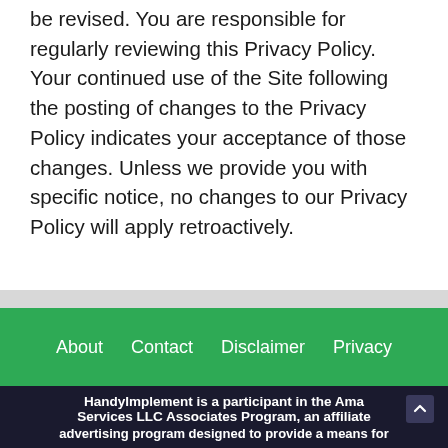be revised. You are responsible for regularly reviewing this Privacy Policy. Your continued use of the Site following the posting of changes to the Privacy Policy indicates your acceptance of those changes. Unless we provide you with specific notice, no changes to our Privacy Policy will apply retroactively.
About  Contact  Disclaimer  Privacy
HandyImplement is a participant in the Amazon Services LLC Associates Program, an affiliate advertising program designed to provide a means for